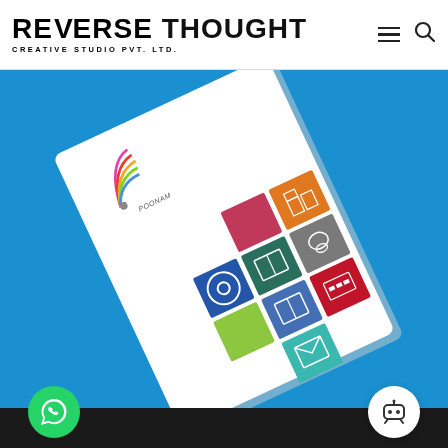[Figure (logo): Reverse Thought Creative Studio Pvt. Ltd. logo with hamburger menu and search icon in white header bar]
[Figure (photo): A white booklet/brochure displayed at an angle on a blue background. The brochure features a colorful logo at top left and a 3x3 grid of colored tiles with white icons representing various services (film, construction, books, printing, packaging, mail/envelope etc.)]
[Figure (illustration): Green circular WhatsApp button at bottom left]
[Figure (illustration): White circular chatbot/robot icon button at bottom right]